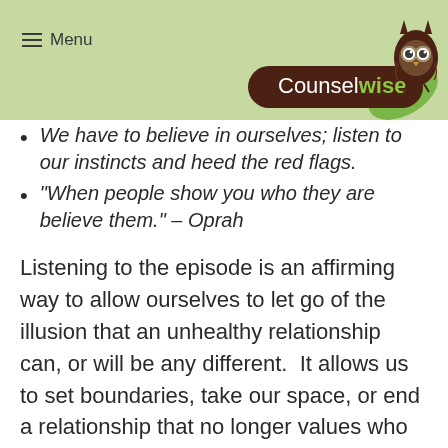Menu | Counselwise
We have to believe in ourselves; listen to our instincts and heed the red flags.
“When people show you who they are believe them.” – Oprah
Listening to the episode is an affirming way to allow ourselves to let go of the illusion that an unhealthy relationship can, or will be any different.  It allows us to set boundaries, take our space, or end a relationship that no longer values who we are.